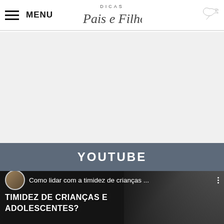MENU | DICAS Pais e Filhos
[Figure (other): Advertisement/blank area placeholder with light grey background]
YOUTUBE
[Figure (screenshot): YouTube video card showing 'Como lidar com a timidez de crianças ...' with host avatar and text 'TIMIDEZ DE CRIANÇAS E ADOLESCENTES?']